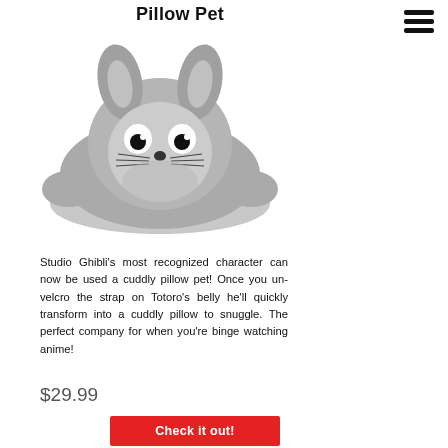Pillow Pet
[Figure (photo): Totoro pillow pet plush toy, gray, lying flat with face visible showing large eyes and whiskers]
Studio Ghibli's most recognized character can now be used a cuddly pillow pet! Once you un-velcro the strap on Totoro's belly he'll quickly transform into a cuddly pillow to snuggle. The perfect company for when you're binge watching anime!
$29.99
Check it out!